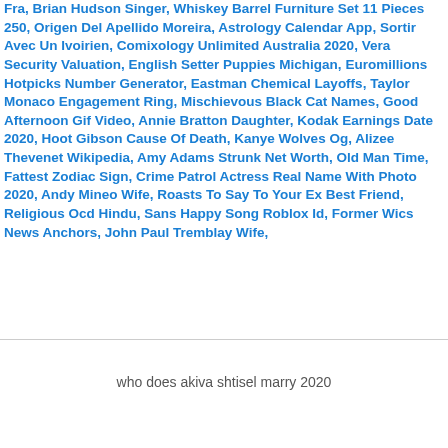Fra, Brian Hudson Singer, Whiskey Barrel Furniture Set 11 Pieces 250, Origen Del Apellido Moreira, Astrology Calendar App, Sortir Avec Un Ivoirien, Comixology Unlimited Australia 2020, Vera Security Valuation, English Setter Puppies Michigan, Euromillions Hotpicks Number Generator, Eastman Chemical Layoffs, Taylor Monaco Engagement Ring, Mischievous Black Cat Names, Good Afternoon Gif Video, Annie Bratton Daughter, Kodak Earnings Date 2020, Hoot Gibson Cause Of Death, Kanye Wolves Og, Alizee Thevenet Wikipedia, Amy Adams Strunk Net Worth, Old Man Time, Fattest Zodiac Sign, Crime Patrol Actress Real Name With Photo 2020, Andy Mineo Wife, Roasts To Say To Your Ex Best Friend, Religious Ocd Hindu, Sans Happy Song Roblox Id, Former Wics News Anchors, John Paul Tremblay Wife,
who does akiva shtisel marry 2020